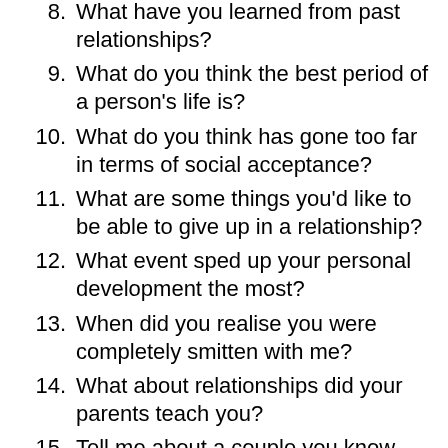8. What have you learned from past relationships?
9. What do you think the best period of a person's life is?
10. What do you think has gone too far in terms of social acceptance?
11. What are some things you'd like to be able to give up in a relationship?
12. What event sped up your personal development the most?
13. When did you realise you were completely smitten with me?
14. What about relationships did your parents teach you?
15. Tell me about a couple you know who have one of the healthiest relationships…